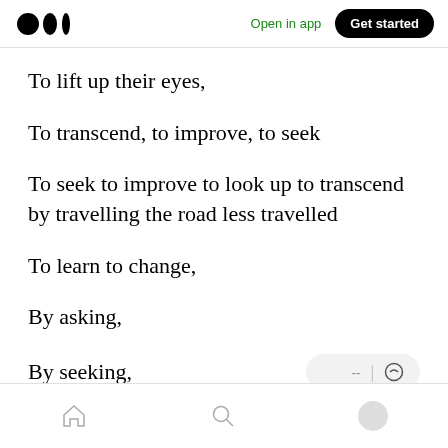Medium logo | Open in app | Get started
To lift up their eyes,
To transcend, to improve, to seek
To seek to improve to look up to transcend by travelling the road less travelled
To learn to change,
By asking,
By seeking,
Home | Search | Profile